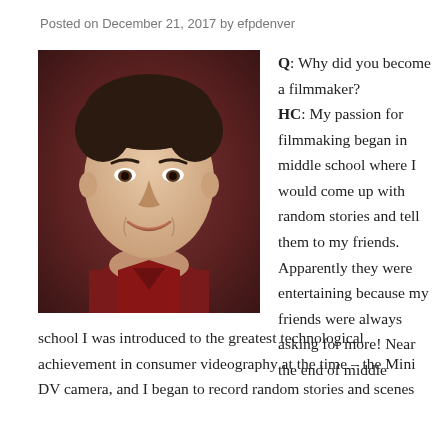Posted on December 21, 2017 by efpdenver
[Figure (photo): Headshot of a smiling man with dark hair, wearing a dark red/maroon shirt, against a dark reddish-brown background.]
Q: Why did you become a filmmaker?
HC: My passion for filmmaking began in middle school where I would come up with random stories and tell them to my friends. Apparently they were entertaining because my friends were always asking for more! Near the end of middle school I was introduced to the greatest technological achievement in consumer videography at the time – the Mini DV camera, and I began to record random stories and scenes